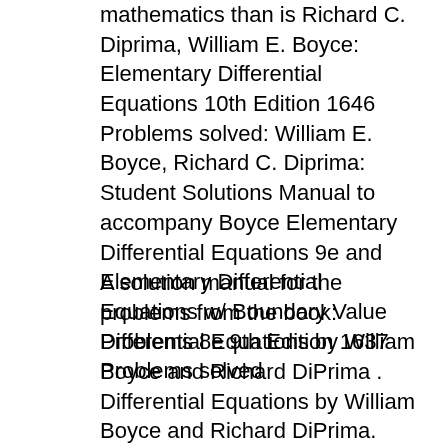mathematics than is Richard C. Diprima, William E. Boyce: Elementary Differential Equations 10th Edition 1646 Problems solved: William E. Boyce, Richard C. Diprima: Student Solutions Manual to accompany Boyce Elementary Differential Equations 9e and Elementary Differential Equations w/ Boundary Value Problems 8e 9th Edition 1637 Problems solved
A solution manual for the problems from the book: Differential Equations by William Boyce and Richard DiPrima . Differential Equations by William Boyce and Richard DiPrima. This is a beautiful introduction to differential equations. The authors do a great job of